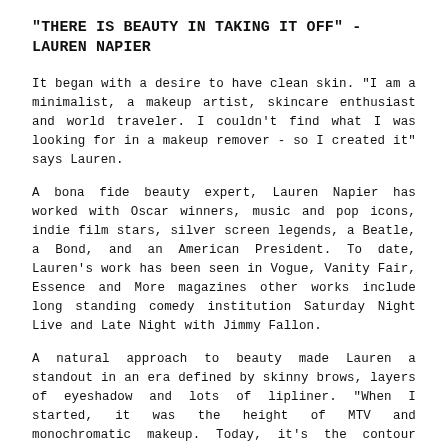"THERE IS BEAUTY IN TAKING IT OFF" - LAUREN NAPIER
It began with a desire to have clean skin. "I am a minimalist, a makeup artist, skincare enthusiast and world traveler. I couldn't find what I was looking for in a makeup remover - so I created it" says Lauren.
A bona fide beauty expert, Lauren Napier has worked with Oscar winners, music and pop icons, indie film stars, silver screen legends, a Beatle, a Bond, and an American President. To date, Lauren's work has been seen in Vogue, Vanity Fair, Essence and More magazines other works include long standing comedy institution Saturday Night Live and Late Night with Jimmy Fallon.
A natural approach to beauty made Lauren a standout in an era defined by skinny brows, layers of eyeshadow and lots of lipliner. "When I started, it was the height of MTV and monochromatic makeup. Today, it's the contour craze. It's great, but it's not realistic and frankly speaking, most women haven't got the time." say the Lauren Napier Beauty founder. "In a culture obsessed with perfection, I